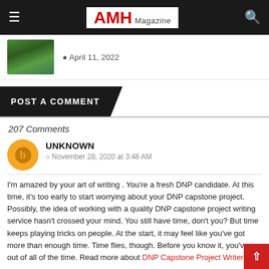AMH Magazine
April 11, 2022
POST A COMMENT
207 Comments
UNKNOWN
November 28, 2020 at 3:48 AM
I'm amazed by your art of writing . You're a fresh DNP candidate. At this time, it's too early to start worrying about your DNP capstone project. Possibly, the idea of working with a quality DNP capstone project writing service hasn't crossed your mind. You still have time, don't you? But time keeps playing tricks on people. At the start, it may feel like you've got more than enough time. Time flies, though. Before you know it, you've run out of all of the time. Read more about DNP Capstone Project Writers